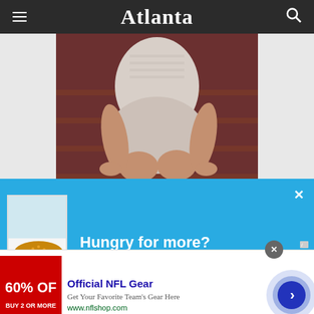Atlanta
[Figure (photo): Person sitting on wooden stairs wearing a light-colored dress/shirt, knees visible, warm toned photo]
[Figure (infographic): Blue popup overlay with burger image and text 'Hungry for more?' with close X button]
[Figure (infographic): Advertisement banner: Official NFL Gear - 60% OFF - Get Your Favorite Team's Gear Here - www.nflshop.com with arrow button]